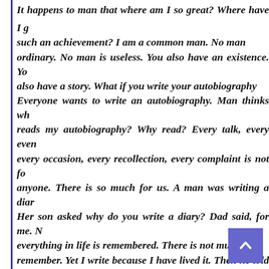It happens to man that where am I so great? Where have I got such an achievement? I am a common man. No man ordinary. No man is useless. You also have an existence. You also have a story. What if you write your autobiography? Everyone wants to write an autobiography. Man thinks who reads my autobiography? Why read? Every talk, every event, every occasion, every recollection, every complaint is not for anyone. There is so much for us. A man was writing a diary. Her son asked why do you write a diary? Dad said, for me. Not everything in life is remembered. There is not much to remember. Yet I write because I have lived it. Then he told his son to do something. When I die, you burn all my diaries with my cheetah. There is nothing to remember in my life. There are only failures. The man died one night.